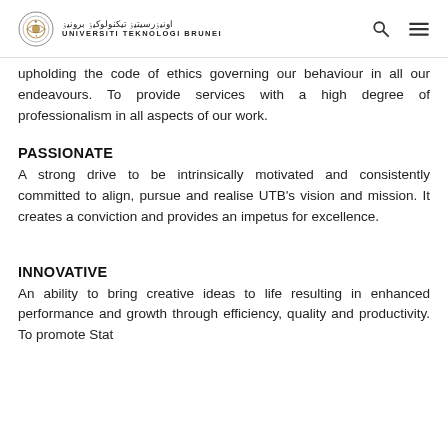Universiti Teknologi Brunei
upholding the code of ethics governing our behaviour in all our endeavours. To provide services with a high degree of professionalism in all aspects of our work.
PASSIONATE
A strong drive to be intrinsically motivated and consistently committed to align, pursue and realise UTB's vision and mission. It creates a conviction and provides an impetus for excellence.
INNOVATIVE
An ability to bring creative ideas to life resulting in enhanced performance and growth through efficiency, quality and productivity. To promote Stat